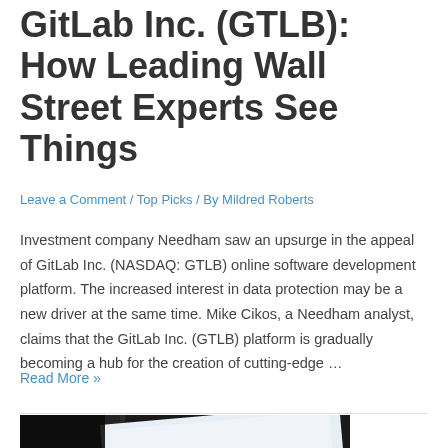GitLab Inc. (GTLB): How Leading Wall Street Experts See Things
Leave a Comment / Top Picks / By Mildred Roberts
Investment company Needham saw an upsurge in the appeal of GitLab Inc. (NASDAQ: GTLB) online software development platform. The increased interest in data protection may be a new driver at the same time. Mike Cikos, a Needham analyst, claims that the GitLab Inc. (GTLB) platform is gradually becoming a hub for the creation of cutting-edge …
Read More »
[Figure (photo): Photo of financial charts and graphs on a tablet or paper, partially visible at bottom of page, with dark background on left side]